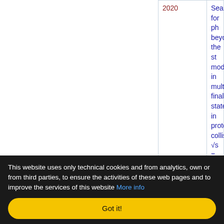|  | Year | Title |
| --- | --- | --- |
|  | 2020 | Search for ph... beyond the st... model in multi... final states in... proton collisio... √s = 13 TeV |
|  | 2020 | Search for ne... neutral Higgs... through the H→ZA→l^+ l^... process in pp collisions at √s... TeV |
|  | 2020 | Search for dir... production of supersymmet... partners to the... proton-proton... |
This website uses only technical cookies and from analytics, own or from third parties, to ensure the activities of these web pages and to improve the services of this website More info